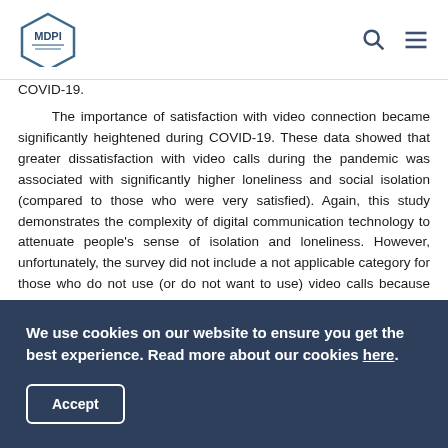MDPI
COVID-19.
The importance of satisfaction with video connection became significantly heightened during COVID-19. These data showed that greater dissatisfaction with video calls during the pandemic was associated with significantly higher loneliness and social isolation (compared to those who were very satisfied). Again, this study demonstrates the complexity of digital communication technology to attenuate people's sense of isolation and loneliness. However, unfortunately, the survey did not include a not applicable category for those who do not use (or do not want to use) video calls because they find it an unsatisfactory form of communication or do not have the skills or
We use cookies on our website to ensure you get the best experience. Read more about our cookies here.
Accept